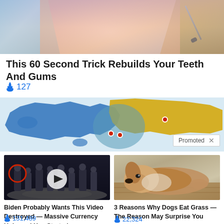[Figure (photo): Top image of a dental procedure: person in blue gloves holding dental tool near patient's mouth]
This 60 Second Trick Rebuilds Your Teeth And Gums
🔥 127
[Figure (map): World map showing blue (Europe/Americas) and yellow (Russia/Asia) regions with red location pins and a 'Promoted X' badge]
[Figure (photo): Group of men in suits on CIA lobby floor with play button overlay and red circle highlighting one person]
Biden Probably Wants This Video Destroyed — Massive Currency Upheaval Has Started
🔥 131,489
[Figure (photo): Dog lying on wooden floor, brown and white coloring]
3 Reasons Why Dogs Eat Grass — The Reason May Surprise You
🔥 22,324